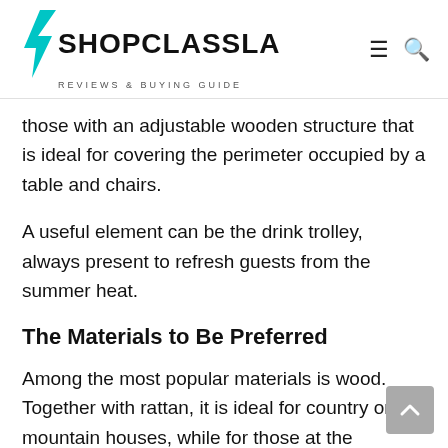SHOPCLASSLA REVIEWS & BUYING GUIDE
those with an adjustable wooden structure that is ideal for covering the perimeter occupied by a table and chairs.
A useful element can be the drink trolley, always present to refresh guests from the summer heat.
The Materials to Be Preferred
Among the most popular materials is wood. Together with rattan, it is ideal for country or mountain houses, while for those at the